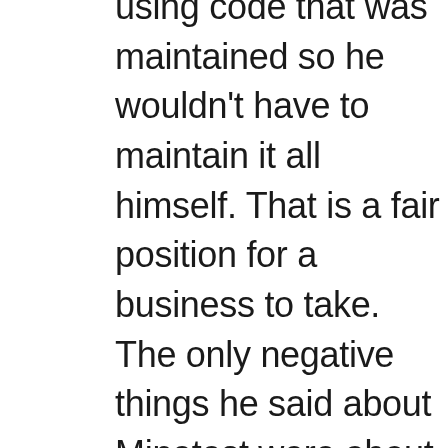using code that was maintained so he wouldn't have to maintain it all himself. That is a fair position for a business to take. The only negative things he said about Minetest were about the abilities of the maintainers and the low popularity, and various shortcomings (such as compared to Minecraft). Our main difference was that: He kept saying, on many occasions, that anything not popular was “dead” and that MultiCraft was the only thing that